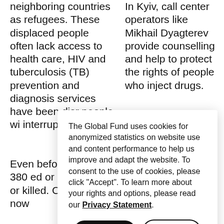neighboring countries as refugees. These displaced people often lack access to health care, HIV and tuberculosis (TB) prevention and diagnosis services have been disr... people wi... interrupt...
In Kyiv, call center operators like Mikhail Dyagterev provide counselling and help to protect the rights of people who inject drugs.
Even befo... HIV and TB diseas... n, more than 380 ...ed or destroyed ...ving health ca... injured or killed. C... ...nd neighbori... ...ention, testing a... ...as now
The Global Fund uses cookies for anonymized statistics on website use and content performance to help us improve and adapt the website. To consent to the use of cookies, please click "Accept". To learn more about your rights and options, please read our Privacy Statement.